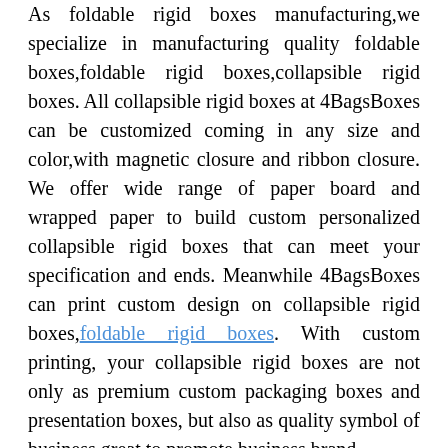As foldable rigid boxes manufacturing,we specialize in manufacturing quality foldable boxes,foldable rigid boxes,collapsible rigid boxes. All collapsible rigid boxes at 4BagsBoxes can be customized coming in any size and color,with magnetic closure and ribbon closure. We offer wide range of paper board and wrapped paper to build custom personalized collapsible rigid boxes that can meet your specification and ends. Meanwhile 4BagsBoxes can print custom design on collapsible rigid boxes,foldable rigid boxes. With custom printing, your collapsible rigid boxes are not only as premium custom packaging boxes and presentation boxes, but also as quality symbol of business,great to promote business brand. At 4BagsBoxes, it is easy to create personalized collapsible rigid boxes, because 4BagsBoxes is experienced manufacturer, We can provide free design service and produce quality collapsible rigid